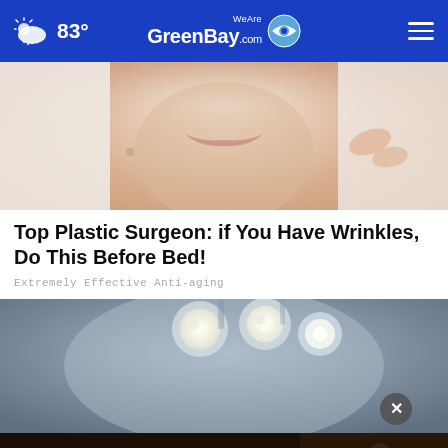83° WeAreGreenBay.com
[Figure (photo): Close-up photo of a woman's lower face and chin area, receiving a skincare or anti-aging treatment, with light glowing on skin]
Top Plastic Surgeon: if You Have Wrinkles, Do This Before Bed!
Extremely Effective Anti-aging
[Figure (photo): Medical or clinical photo showing bright overhead operating lights from below, with a circular reflective surface, suggesting a medical procedure setting]
[Figure (photo): Advertisement banner: Veterans, you're not alone. Shows a person in military uniform sitting in a chair.]